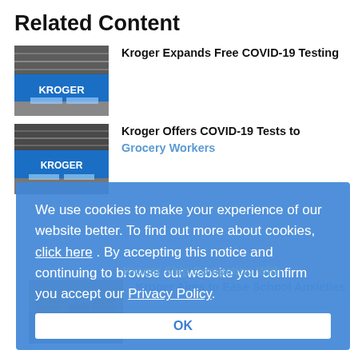Related Content
[Figure (photo): Kroger store front photo with shopping carts]
Kroger Expands Free COVID-19 Testing
[Figure (photo): Kroger store front photo]
Kroger Offers COVID-19 Tests to Grocery Workers
We use cookies to make your experience of our website better. To find out more about cookies, click here . By accepting this notice and continuing to browse our website you confirm you accept our Privacy Policy
OK
[Figure (photo): Store interior photo]
Kroger Ship Competing With
Kroger Aims to Ease School Anxieties